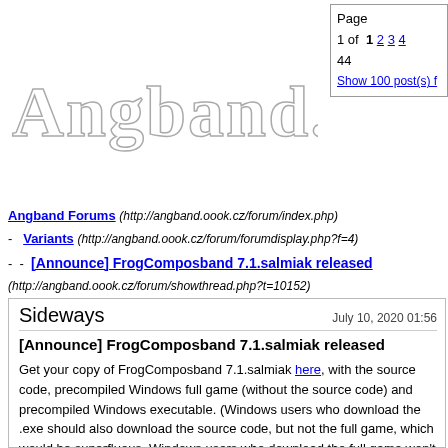[Figure (logo): Angband.oook.cz decorative text logo in outlined/hollow letter style]
Page 1 of 1 2 3 4
44
Show 100 post(s) f
Angband Forums (http://angband.oook.cz/forum/index.php)
- Variants (http://angband.oook.cz/forum/forumdisplay.php?f=4)
- - [Announce] FrogComposband 7.1.salmiak released (http://angband.oook.cz/forum/showthread.php?t=10152)
Sideways
July 10, 2020 01:56
[Announce] FrogComposband 7.1.salmiak released
Get your copy of FrogComposband 7.1.salmiak here, with the source code, precompiled Windows full game (without the source code) and precompiled Windows executable. (Windows users who download the .exe should also download the source code, but not the full game, which would be superfluous. Windows users who download the full game won't need to download any other files.)
As usual, savefiles are unidirectionally compatible; you can safely use old savefiles in 7.1.salmiak, but you can't use 7.1.salmiak savefiles in older versions.
Many thanks to all players and feedback providers, keep it up! I do hope to have a changelog one day that doesn't have page after page